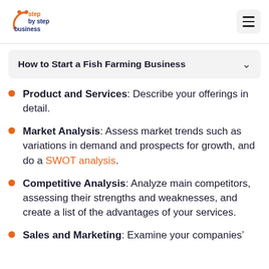step by step business
How to Start a Fish Farming Business
Product and Services: Describe your offerings in detail.
Market Analysis: Assess market trends such as variations in demand and prospects for growth, and do a SWOT analysis.
Competitive Analysis: Analyze main competitors, assessing their strengths and weaknesses, and create a list of the advantages of your services.
Sales and Marketing: Examine your companies'